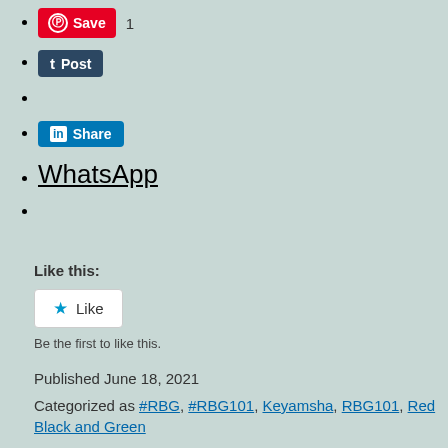Save 1 (Pinterest button)
Post (Tumblr button)
(empty)
Share (LinkedIn button)
WhatsApp
(empty)
Like this:
Like
Be the first to like this.
Published June 18, 2021
Categorized as #RBG, #RBG101, Keyamsha, RBG101, Red Black and Green